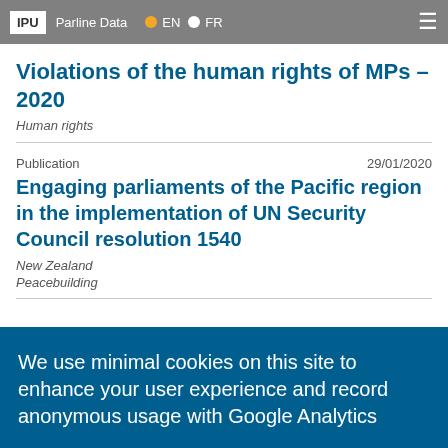IPU  Parline Data  EN  FR
Violations of the human rights of MPs – 2020
Human rights
Publication  29/01/2020
Engaging parliaments of the Pacific region in the implementation of UN Security Council resolution 1540
New Zealand
Peacebuilding
We use minimal cookies on this site to enhance your user experience and record anonymous usage with Google Analytics